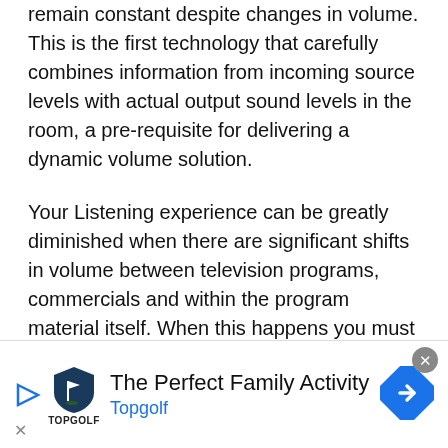remain constant despite changes in volume. This is the first technology that carefully combines information from incoming source levels with actual output sound levels in the room, a pre-requisite for delivering a dynamic volume solution.
Your Listening experience can be greatly diminished when there are significant shifts in volume between television programs, commercials and within the program material itself. When this happens you must constantly adjust the volume to maintain your desired listening level. Audyssey Dynamic Volume monitors the...
[Figure (infographic): Advertisement banner for Topgolf: 'The Perfect Family Activity' with Topgolf logo and navigation arrow icon. Contains a play button icon, Topgolf shield logo, text and a blue diamond navigation icon.]